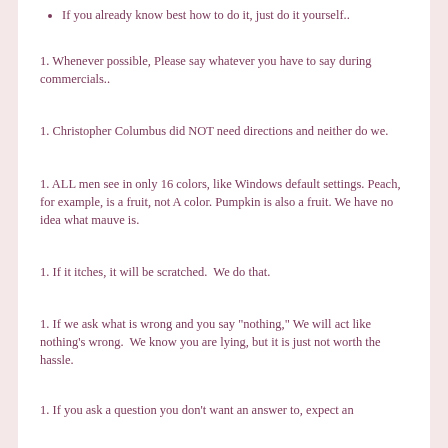If you already know best how to do it, just do it yourself..
1. Whenever possible, Please say whatever you have to say during commercials..
1. Christopher Columbus did NOT need directions and neither do we.
1. ALL men see in only 16 colors, like Windows default settings. Peach, for example, is a fruit, not A color. Pumpkin is also a fruit. We have no idea what mauve is.
1. If it itches, it will be scratched.  We do that.
1. If we ask what is wrong and you say "nothing," We will act like nothing's wrong.  We know you are lying, but it is just not worth the hassle.
1. If you ask a question you don't want an answer to, expect an